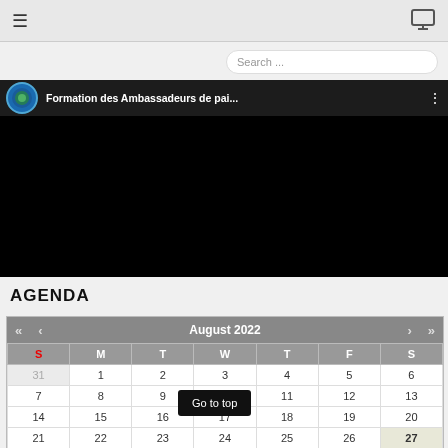Navigation bar with hamburger menu and monitor icon
Search ...
[Figure (screenshot): YouTube-style video embed showing 'Formation des Ambassadeurs de pai...' with channel logo, title, and three-dot menu. Video content area is black.]
AGENDA
| S | M | T | W | T | F | S |
| --- | --- | --- | --- | --- | --- | --- |
| 31 | 1 | 2 | 3 | 4 | 5 | 6 |
| 7 | 8 | 9 | 10 | 11 | 12 | 13 |
| 14 | 15 | 16 | 17 | 18 | 19 | 20 |
| 21 | 22 | 23 | 24 | 25 | 26 | 27 |
| 28 | 29 | 30 | 31 | 1 | 2 | 3 |
Go to top